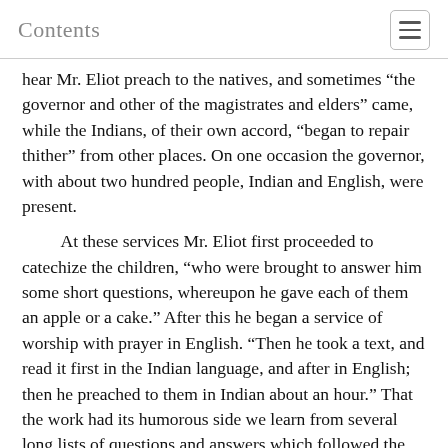Contents
hear Mr. Eliot preach to the natives, and sometimes “the governor and other of the magistrates and elders” came, while the Indians, of their own accord, “began to repair thither” from other places. On one occasion the governor, with about two hundred people, Indian and English, were present.
At these services Mr. Eliot first proceeded to catechize the children, “who were brought to answer him some short questions, whereupon he gave each of them an apple or a cake.” After this he began a service of worship with prayer in English. “Then he took a text, and read it first in the Indian language, and after in English; then he preached to them in Indian about an hour.” That the work had its humorous side we learn from several long lists of questions and answers which followed the sermon. Finally he concluded with a prayer in the Indian tongue. At the Cambridge synod in 1647, Mr. Eliot preached to the Indians in their own language